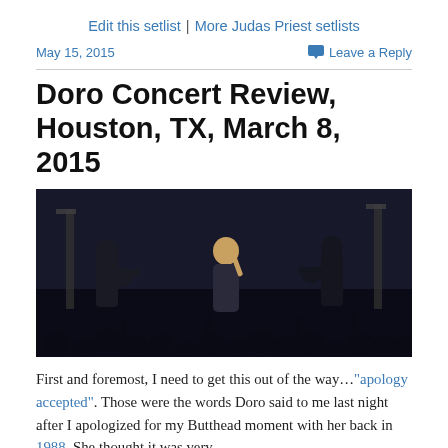Edit this setlist | More Judas Priest setlists
May 15, 2015    Leave a Reply
Doro Concert Review, Houston, TX, March 8, 2015
[Figure (photo): Concert photo showing band performing on stage with blue and white stage lights, crowd visible in foreground, blonde female lead singer center stage]
First and foremost, I need to get this out of the way…“apology accepted”.  Those were the words Doro said to me last night after I apologized for my Butthead moment with her back in 1988.  She thought it was very